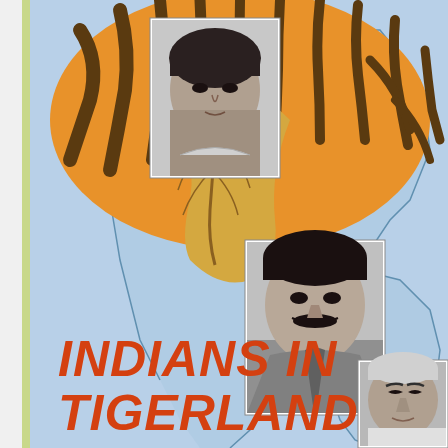[Figure (illustration): Book cover image for 'Indians in Tigerland'. Features a light blue background with an illustrated map outline of Sri Lanka and southern India. A large stylized tiger illustration with orange and brown stripes dominates the upper center. Three black-and-white portrait photographs of Indian men are overlaid on the background. The title 'INDIANS IN TIGERLAND' is displayed in large bold orange letters in the lower left portion of the cover.]